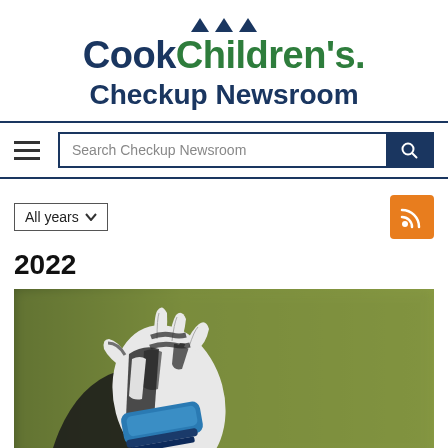Cook Children's Checkup Newsroom
Search Checkup Newsroom
All years
2022
[Figure (photo): Close-up of a sports player's hands wearing a white and black patterned glove with a blue wrist brace/support against a blurred olive-green background]